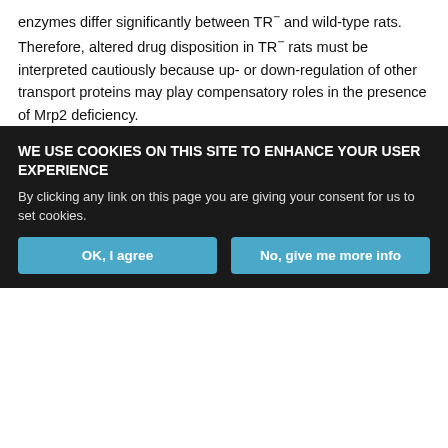enzymes differ significantly between TR− and wild-type rats. Therefore, altered drug disposition in TR− rats must be interpreted cautiously because up- or down-regulation of other transport proteins may play compensatory roles in the presence of Mrp2 deficiency.
Footnotes
This work was supported by National Institutes of Health Grants GM41935, GM60904, ES058571, and CA23099; by Cancer Center Support Grant P30 CA21745; and by the American Lebanese Syrian Associated Charities. B.M.J. is supported by a University of North Carolina Clinical
WE USE COOKIES ON THIS SITE TO ENHANCE YOUR USER EXPERIENCE
By clicking any link on this page you are giving your consent for us to set cookies.